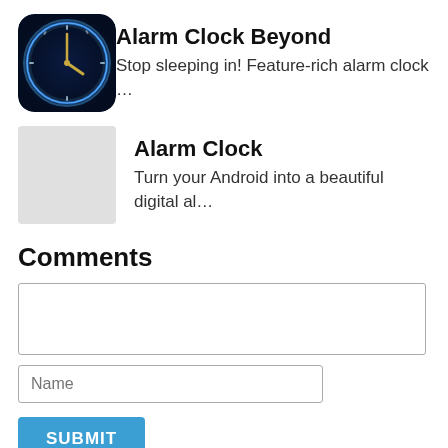[Figure (illustration): App icon for Alarm Clock Beyond: dark blue background with glowing neon blue circular clock face with gold clock hands, rounded square shape]
Alarm Clock Beyond
Stop sleeping in! Feature-rich alarm clock …
[Figure (illustration): Placeholder grey square icon for Alarm Clock app]
Alarm Clock
Turn your Android into a beautiful digital al…
Comments
(comment text area — empty)
Name
SUBMIT